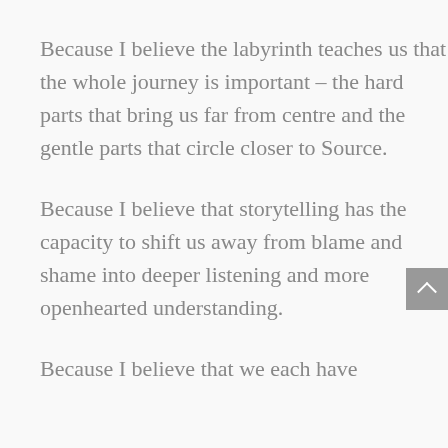Because I believe the labyrinth teaches us that the whole journey is important – the hard parts that bring us far from centre and the gentle parts that circle closer to Source.
Because I believe that storytelling has the capacity to shift us away from blame and shame into deeper listening and more openhearted understanding.
Because I believe that we each have